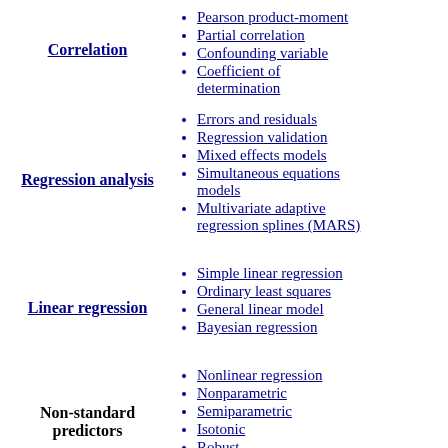Correlation
Pearson product-moment
Partial correlation
Confounding variable
Coefficient of determination
Regression analysis
Errors and residuals
Regression validation
Mixed effects models
Simultaneous equations models
Multivariate adaptive regression splines (MARS)
Linear regression
Simple linear regression
Ordinary least squares
General linear model
Bayesian regression
Non-standard predictors
Nonlinear regression
Nonparametric
Semiparametric
Isotonic
Robust
Heteroscedasticity
Homoscedasticity